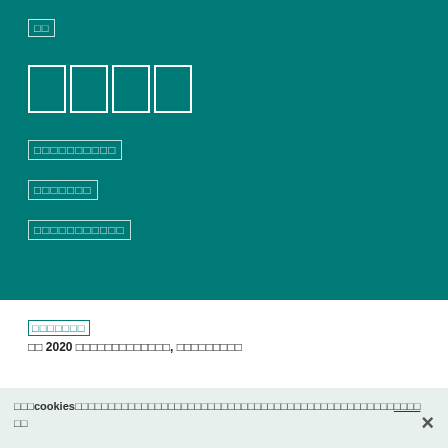□□
□□□□
□□□□□□□□□□
□□□□□□□
□□□□□□□□□□□
□□□□□□□
□□ 2020 □□□□□□□□□□□□□, □□□□□□□□□
□□□cookies□□□□□□□□□□□□□□□□□□□□□□□□□□□□□□□□□□□□□□□□□□□□□□□□ □□